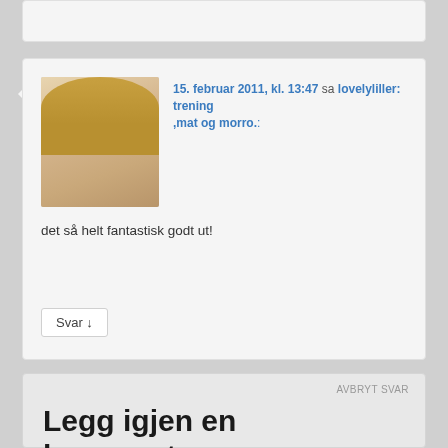[Figure (photo): Truncated top of a comment card, partially visible at top of page]
[Figure (photo): User avatar photo of a young blonde woman]
15. februar 2011, kl. 13:47 sa lovelyliller: trening ,mat og morro.:
det så helt fantastisk godt ut!
Svar ↓
Legg igjen en kommentar til cheap car insurance
AVBRYT SVAR
Din e-postadresse vil ikke bli publisert.
Obligatoriske felt er merket med *